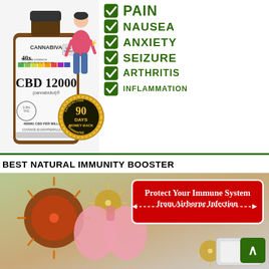[Figure (infographic): CBD 12000 cannabidiol product advertisement showing a bottle of Cannabiva 40x Maximum Strength Full Spectrum Oil Tincture CBD 12000, a cartoon figure with back pain, a 90 Days Money Back satisfaction guarantee seal, and a checklist of conditions it helps: PAIN, NAUSEA, ANXIETY, SEIZURE, ARTHRITIS, INFLAMMATION]
BEST NATURAL IMMUNITY BOOSTER
[Figure (infographic): Immunity booster advertisement showing illustrated virus particles and lungs with red banner text 'Protect Your Immune System from Airborne Infection' and a product visible at bottom right, with a green scroll-to-top button]